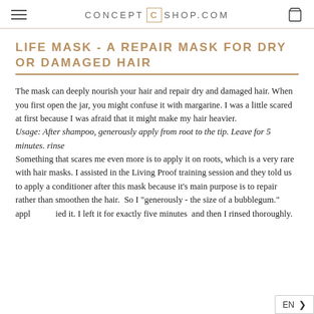CONCEPT C SHOP.COM
LIFE MASK - A REPAIR MASK FOR DRY OR DAMAGED HAIR
The mask can deeply nourish your hair and repair dry and damaged hair. When you first open the jar, you might confuse it with margarine. I was a little scared at first because I was afraid that it might make my hair heavier.
Usage: After shampoo, generously apply from root to the tip. Leave for 5 minutes. rinse
Something that scares me even more is to apply it on roots, which is a very rare with hair masks. I assisted in the Living Proof training session and they told us to apply a conditioner after this mask because it's main purpose is to repair rather than smoothen the hair.  So I "generously - the size of a bubblegum." applied it. I left it for exactly five minutes  and then I rinsed thoroughly.